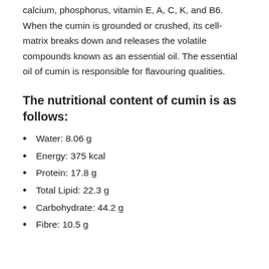calcium, phosphorus, vitamin E, A, C, K, and B6. When the cumin is grounded or crushed, its cell-matrix breaks down and releases the volatile compounds known as an essential oil. The essential oil of cumin is responsible for flavouring qualities.
The nutritional content of cumin is as follows:
Water: 8.06 g
Energy: 375 kcal
Protein: 17.8 g
Total Lipid: 22.3 g
Carbohydrate: 44.2 g
Fibre: 10.5 g